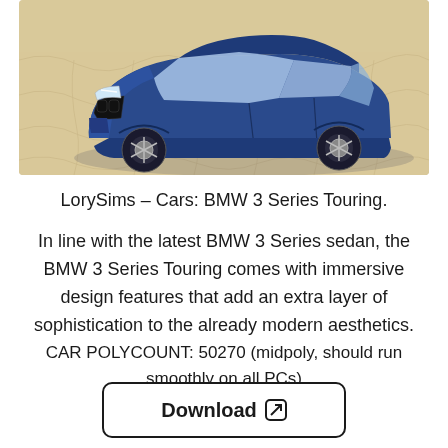[Figure (photo): A blue BMW 3 Series Touring wagon/estate car rendered in a 3D simulation environment, viewed from a front 3/4 angle, parked on a beige stone-patterned floor.]
LorySims – Cars: BMW 3 Series Touring.
In line with the latest BMW 3 Series sedan, the BMW 3 Series Touring comes with immersive design features that add an extra layer of sophistication to the already modern aesthetics.
CAR POLYCOUNT: 50270 (midpoly, should run smoothly on all PCs)
Download